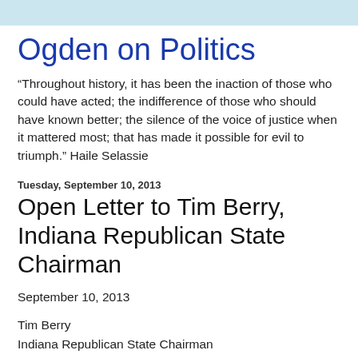Ogden on Politics
“Throughout history, it has been the inaction of those who could have acted; the indifference of those who should have known better; the silence of the voice of justice when it mattered most; that has made it possible for evil to triumph.” Haile Selassie
Tuesday, September 10, 2013
Open Letter to Tim Berry, Indiana Republican State Chairman
September 10, 2013
Tim Berry
Indiana Republican State Chairman
47 S. Meridian Street, 2nd Floor
Indianapolis, IN 46204